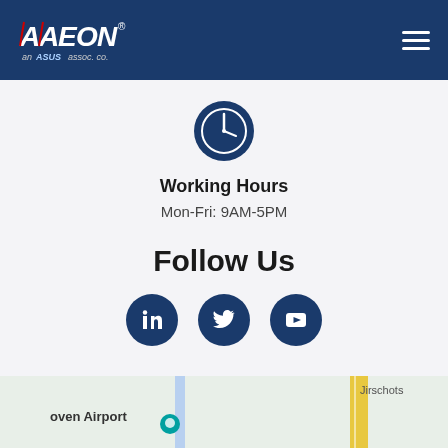AAEON – an ASUS assoc. co.
[Figure (logo): AAEON logo with 'an ASUS assoc. co.' tagline on dark blue navigation bar]
[Figure (illustration): Dark blue circular clock icon]
Working Hours
Mon-Fri: 9AM-5PM
Follow Us
[Figure (illustration): Three dark blue circular social media icons: LinkedIn, Twitter, YouTube]
[Figure (map): Partial Google Maps view showing airport area]